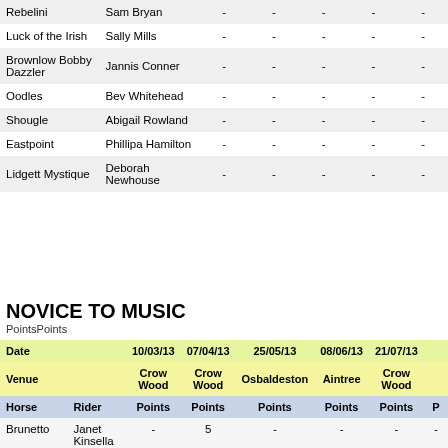| Horse | Rider |  |  |  |  |  |  |
| --- | --- | --- | --- | --- | --- | --- | --- |
| Rebelini | Sam Bryan | - | - | - | - | - |
| Luck of the Irish | Sally Mills | - | - | - | - | - |
| Brownlow Bobby Dazzler | Jannis Conner | - | - | - | - | - |
| Oodles | Bev Whitehead | - | - | - | - | - |
| Shougle | Abigail Rowland | - | - | - | - | - |
| Eastpoint | Phillipa Hamilton | - | - | - | - | - |
| Lidgett Mystique | Deborah Newhouse | - | - | - | - | - |
NOVICE TO MUSIC
PointsPoints
| Date |  | 10/03/13 | 07/04/13 | 25/05/13 | 08/06/13 | 21/07/13 |  |
| --- | --- | --- | --- | --- | --- | --- | --- |
| Venue |  | Crow Wood | Crow Wood | Osbaldeston | Aintree | Crow Wood |  |
| Horse | Rider | Points | Points | Points | Points | Points |  |
| Brunetto | Janet Kinsella | - | 5 | - | - | - | - |
| Brownlow Bobby | Janice ... | - | - | - | 6 | - |  |